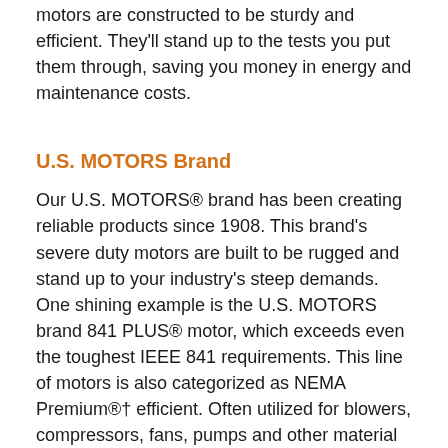motors are constructed to be sturdy and efficient. They'll stand up to the tests you put them through, saving you money in energy and maintenance costs.
U.S. MOTORS Brand
Our U.S. MOTORS® brand has been creating reliable products since 1908. This brand's severe duty motors are built to be rugged and stand up to your industry's steep demands. One shining example is the U.S. MOTORS brand 841 PLUS® motor, which exceeds even the toughest IEEE 841 requirements. This line of motors is also categorized as NEMA Premium®† efficient. Often utilized for blowers, compressors, fans, pumps and other material processing applications in severe duty conditions, you can count on these motors to operate at lower temperatures and be energy-efficient.
Other motors under this brand – such as our standout CORRO-DUTY® motors – have a reputation for being